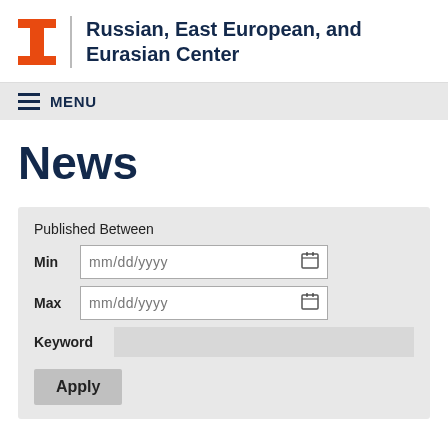Russian, East European, and Eurasian Center
News
Published Between
Min mm/dd/yyyy
Max mm/dd/yyyy
Keyword
Apply